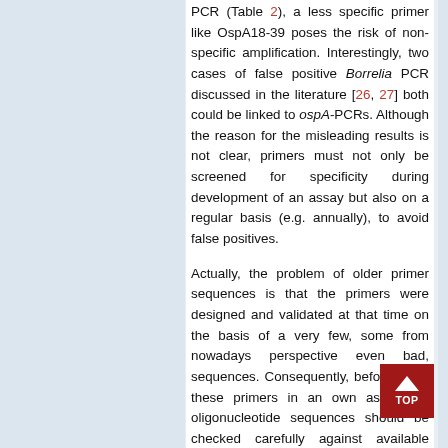PCR (Table 2), a less specific primer like OspA18-39 poses the risk of non-specific amplification. Interestingly, two cases of false positive Borrelia PCR discussed in the literature [26, 27] both could be linked to ospA-PCRs. Although the reason for the misleading results is not clear, primers must not only be screened for specificity during development of an assay but also on a regular basis (e.g. annually), to avoid false positives.

Actually, the problem of older primer sequences is that the primers were designed and validated at that time on the basis of a very few, some from nowadays perspective even bad, sequences. Consequently, before using these primers in an own assay the oligonucleotide sequences should be checked carefully against available sequences. One of the ospA-primers published in 1991 [7] for instance aligns perfectly with some American BorreliaospA